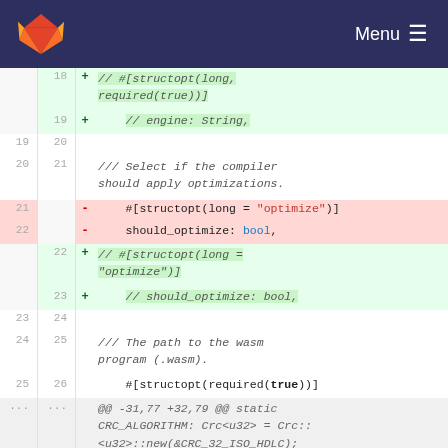Menu
[Figure (screenshot): GitLab diff view showing code changes in a Rust file. Lines 18-33 showing removal of structopt fields and their replacement with commented-out versions. Includes hunk header and fn main() line.]